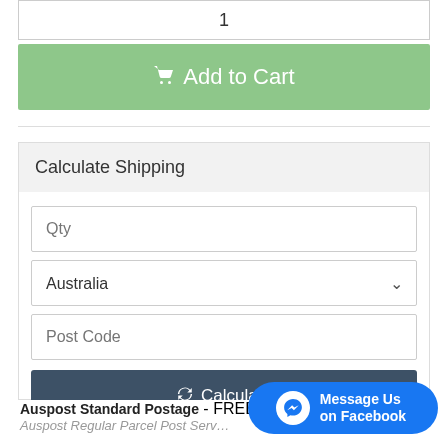1
🛒 Add to Cart
Calculate Shipping
Qty
Australia
Post Code
🔄 Calculate
Auspost Standard Postage - FREE
Auspost Regular Parcel Post Serv…
[Figure (screenshot): Facebook Messenger 'Message Us on Facebook' chat button overlay in bottom right corner]